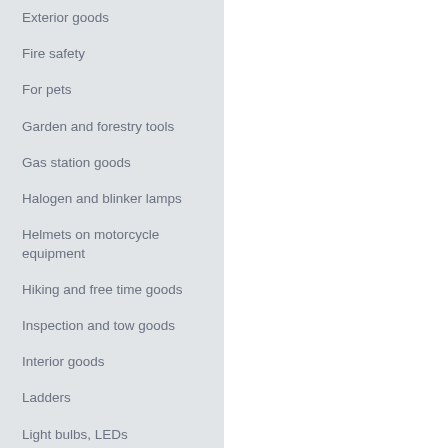Exterior goods
Fire safety
For pets
Garden and forestry tools
Gas station goods
Halogen and blinker lamps
Helmets on motorcycle equipment
Hiking and free time goods
Inspection and tow goods
Interior goods
Ladders
Light bulbs, LEDs
Magnets
Oils
Parking systems